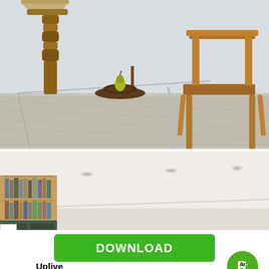[Figure (photo): Interior room scene with a wooden table lamp on the left, a glass-top table with chrome frame holding a dark bowl with a green pear, and a wooden chair on the right, all on a textured light gray area rug.]
[Figure (photo): Interior room scene showing a ceiling with recessed lighting and a wooden bookshelf on the left side filled with books, taken from a low angle.]
[Figure (other): Green download button with white text reading DOWNLOAD, part of an app advertisement for Uplive with a green R-rated badge icon and Ad label.]
Uplive
Ad